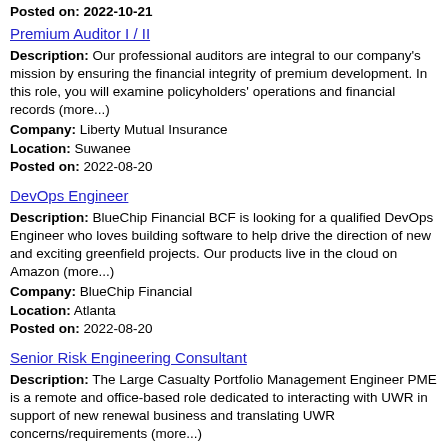Posted on: 2022-10-21
Premium Auditor I / II
Description: Our professional auditors are integral to our company's mission by ensuring the financial integrity of premium development. In this role, you will examine policyholders' operations and financial records (more...)
Company: Liberty Mutual Insurance
Location: Suwanee
Posted on: 2022-08-20
DevOps Engineer
Description: BlueChip Financial BCF is looking for a qualified DevOps Engineer who loves building software to help drive the direction of new and exciting greenfield projects. Our products live in the cloud on Amazon (more...)
Company: BlueChip Financial
Location: Atlanta
Posted on: 2022-08-20
Senior Risk Engineering Consultant
Description: The Large Casualty Portfolio Management Engineer PME is a remote and office-based role dedicated to interacting with UWR in support of new renewal business and translating UWR concerns/requirements (more...)
Company: Zurich Insurance Company Ltd.
Location: Atlanta
Posted on: 2022-08-20